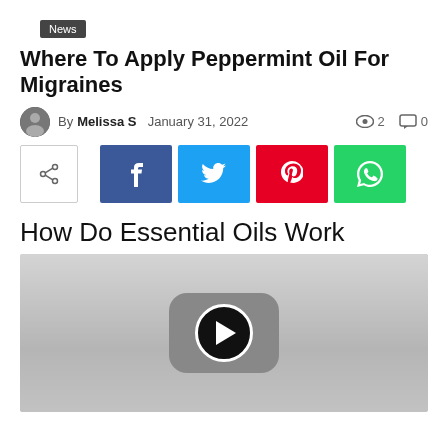News
Where To Apply Peppermint Oil For Migraines
By Melissa S  January 31, 2022  👁 2  💬 0
[Figure (infographic): Social share buttons: share icon (plain), Facebook (blue), Twitter (cyan), Pinterest (red), WhatsApp (green)]
How Do Essential Oils Work
[Figure (screenshot): Video thumbnail with YouTube-style play button on grey background]